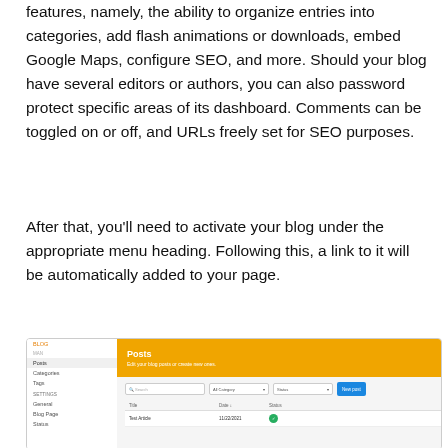features, namely, the ability to organize entries into categories, add flash animations or downloads, embed Google Maps, configure SEO, and more. Should your blog have several editors or authors, you can also password protect specific areas of its dashboard. Comments can be toggled on or off, and URLs freely set for SEO purposes.
After that, you'll need to activate your blog under the appropriate menu heading. Following this, a link to it will be automatically added to your page.
[Figure (screenshot): Screenshot of a website builder blog posts management interface showing a sidebar with BLOG, Posts, Categories, Tags sections and SETTINGS with General, Blog Page, Status items. The main area shows an orange header 'Posts' with subtitle 'Edit your blog posts or create new ones.' Below is a search bar, category and status dropdowns, and a blue 'New post' button. A table shows columns for Title, Date, Status with a row showing 'Test Article', '11/22/2021', and a green status dot.]